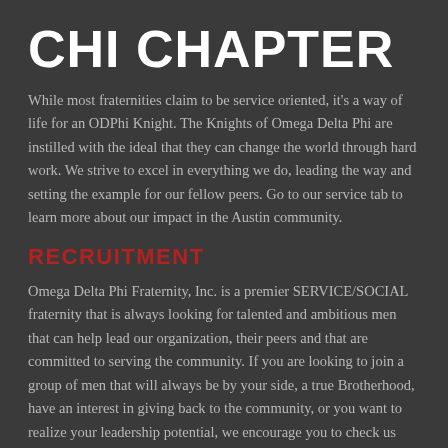CHI CHAPTER
While most fraternities claim to be service oriented, it's a way of life for an ODPhi Knight. The Knights of Omega Delta Phi are instilled with the ideal that they can change the world through hard work. We strive to excel in everything we do, leading the way and setting the example for our fellow peers. Go to our service tab to learn more about our impact in the Austin community.
RECRUITMENT
Omega Delta Phi Fraternity, Inc. is a premier SERVICE/SOCIAL fraternity that is always looking for talented and ambitious men that can help lead our organization, their peers and that are committed to serving the community. If you are looking to join a group of men that will always be by your side, a true Brotherhood, have an interest in giving back to the community, or you want to realize your leadership potential, we encourage you to check us out. If you can work as hard as you play, and want to make a difference on campus and in the community, then consider joining our